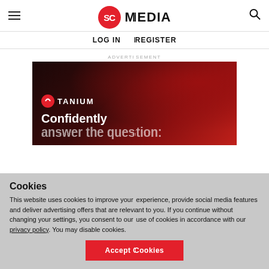SC MEDIA — LOG IN  REGISTER
ADVERTISEMENT
[Figure (screenshot): Tanium advertisement banner with dark red gradient background, Tanium logo, and text 'Confidently answer the question:']
Cookies
This website uses cookies to improve your experience, provide social media features and deliver advertising offers that are relevant to you. If you continue without changing your settings, you consent to our use of cookies in accordance with our privacy policy. You may disable cookies.
Accept Cookies